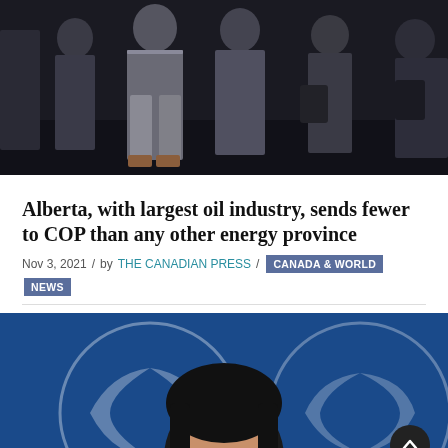[Figure (photo): Group of people in suits standing in a dark conference or event venue]
Alberta, with largest oil industry, sends fewer to COP than any other energy province
Nov 3, 2021 / by THE CANADIAN PRESS / CANADA & WORLD NEWS
[Figure (photo): Man with dark hair in front of a blue background with UN olive branch logo]